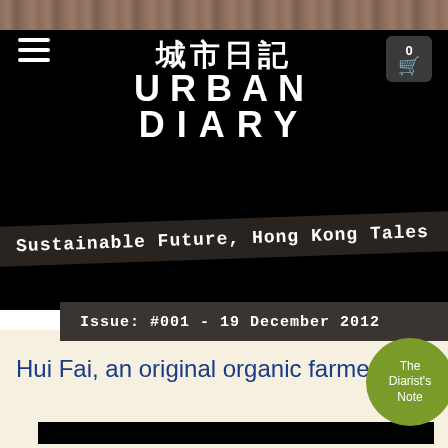城市日記 URBAN DIARY
Sustainable Future, Hong Kong Tales
Issue: #001 - 19 December 2012
Hui Fai, an original organic farmer
The Diarist's Note
[Figure (photo): Black photograph area at bottom of page]